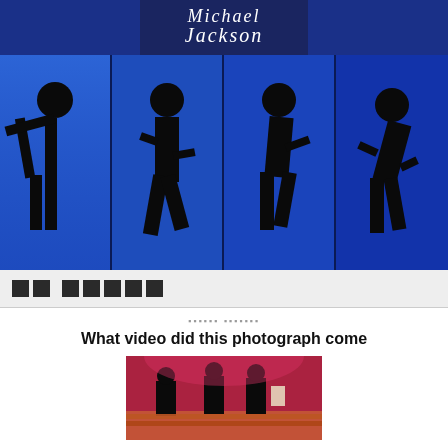[Figure (photo): Michael Jackson logo text in white italic script on dark blue background, with four silhouette dance poses of a figure in a hat against blue lit panels]
□□ □□□□□□
□□□□□□ □□□□□□□
What video did this photograph come
[Figure (photo): Blurry photograph showing dancers/performers on a stage with red and colorful lighting, figures in dark suits]